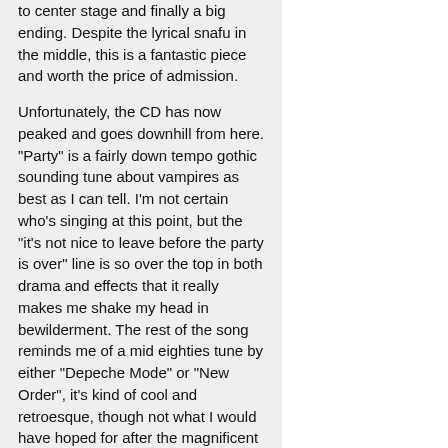to center stage and finally a big ending. Despite the lyrical snafu in the middle, this is a fantastic piece and worth the price of admission.
Unfortunately, the CD has now peaked and goes downhill from here. "Party" is a fairly down tempo gothic sounding tune about vampires as best as I can tell. I'm not certain who's singing at this point, but the "it's not nice to leave before the party is over" line is so over the top in both drama and effects that it really makes me shake my head in bewilderment. The rest of the song reminds me of a mid eighties tune by either "Depeche Mode" or "New Order", it's kind of cool and retroesque, though not what I would have hoped for after the magnificent title track. The highlight of "Party" is the vocal interplay at the very end.
"Fortress of Sand" is a nice piece, very minimalist and atmospheric, probably the second best song on the CD.